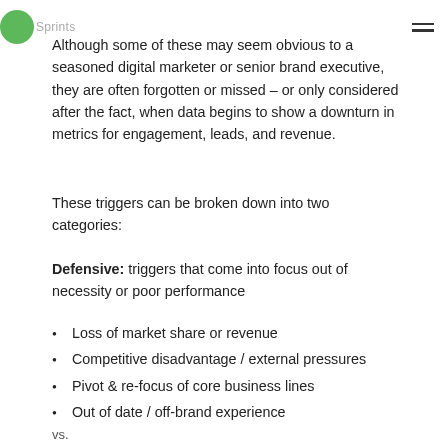Sprints
Although some of these may seem obvious to a seasoned digital marketer or senior brand executive, they are often forgotten or missed – or only considered after the fact, when data begins to show a downturn in metrics for engagement, leads, and revenue.
These triggers can be broken down into two categories:
Defensive: triggers that come into focus out of necessity or poor performance
Loss of market share or revenue
Competitive disadvantage / external pressures
Pivot & re-focus of core business lines
Out of date / off-brand experience
vs.